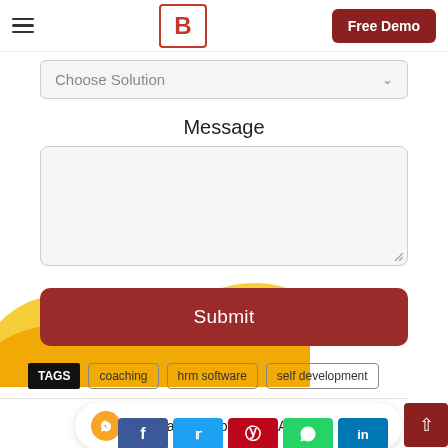[Figure (screenshot): Website header with hamburger menu icon, bold B logo in red border, and Free Demo button in dark red]
[Figure (screenshot): Choose Solution dropdown selector field]
Message
[Figure (screenshot): Message textarea input box]
[Figure (illustration): Yellow decorative blob/wave shape in background]
[Figure (screenshot): Submit button in dark red]
TAGS  coaching  hrm software  self development
[Figure (screenshot): Book a Demo by WhatsApp bar with orange WhatsApp icon and scroll-to-top button]
[Figure (screenshot): Social sharing icons: Facebook, Twitter, Pinterest, WhatsApp, LinkedIn]